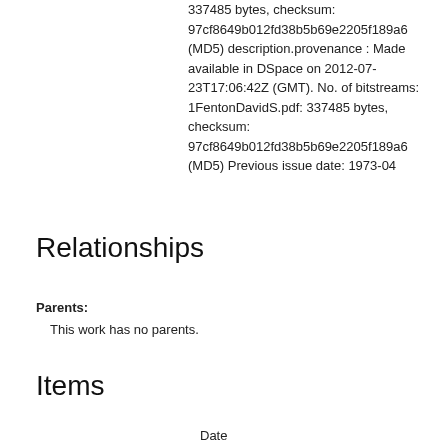337485 bytes, checksum: 97cf8649b012fd38b5b69e2205f189a6 (MD5) description.provenance : Made available in DSpace on 2012-07-23T17:06:42Z (GMT). No. of bitstreams: 1FentonDavidS.pdf: 337485 bytes, checksum: 97cf8649b012fd38b5b69e2205f189a6 (MD5) Previous issue date: 1973-04
Relationships
Parents:
This work has no parents.
Items
Date